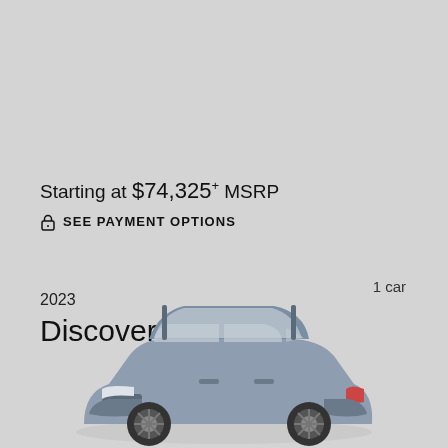Starting at $74,325* MSRP
SEE PAYMENT OPTIONS
1 car
2023 Discovery Sport
[Figure (photo): 2023 Land Rover Discovery Sport SUV in blue-grey color, front three-quarter view on grey background]